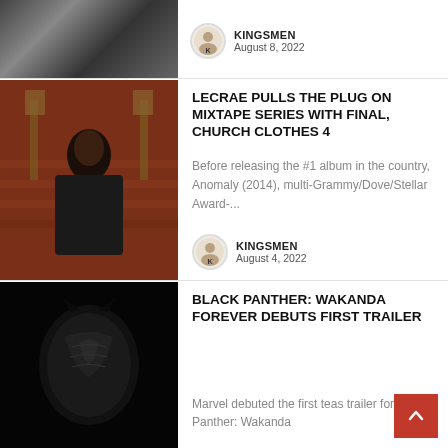[Figure (photo): Black and white photo of people, partially visible at top of page]
KINGSMEN
August 8, 2022
[Figure (photo): Lecrae sitting on an ornate throne-like chair in a church setting, wearing a leather jacket]
LECRAE PULLS THE PLUG ON MIXTAPE SERIES WITH FINAL, CHURCH CLOTHES 4
Before releasing the #1 album in the country, Anomaly (2014), multi-Grammy/Dove/Stellar Award-...
KINGSMEN
August 4, 2022
[Figure (photo): Black Panther armor/suit close-up on dark background]
BLACK PANTHER: WAKANDA FOREVER DEBUTS FIRST TRAILER
Marvel debuted the first teas trailer for Black Panther: Wakanda